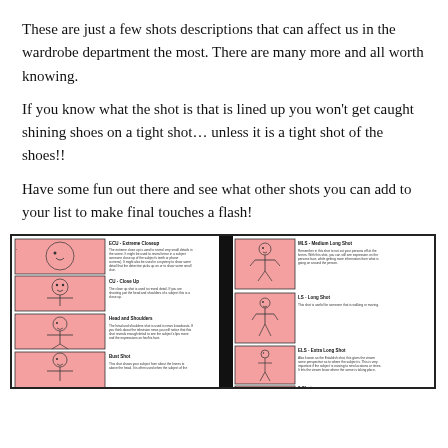These are just a few shots descriptions that can affect us in the wardrobe department the most. There are many more and all worth knowing.
If you know what the shot is that is lined up you won’t get caught shining shoes on a tight shot… unless it is a tight shot of the shoes!!
Have some fun out there and see what other shots you can add to your list to make final touches a flash!
[Figure (illustration): Reference sheet showing camera shot types with stick figure diagrams and descriptions. Left column shows ECU - Extreme Closeup, CU - Close Up, Head and Shoulders, Bust Shot. Right column shows MLS - Medium Long Shot, LS - Long Shot, ELS - Extra Long Shot, 2 Shot. Each entry includes a small framed illustration of a stick figure at the appropriate framing and a brief text description.]